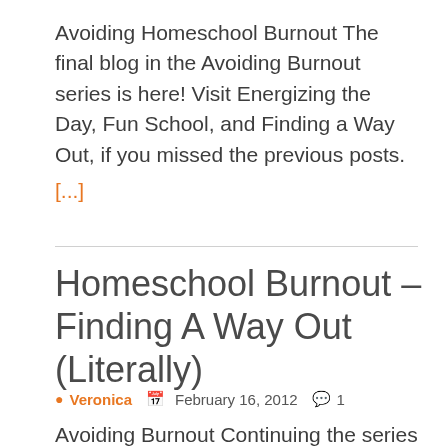Avoiding Homeschool Burnout The final blog in the Avoiding Burnout series is here!  Visit Energizing the Day, Fun School, and Finding a Way Out, if you missed the previous posts. [...]
Homeschool Burnout – Finding A Way Out (Literally)
Veronica  February 16, 2012  1
Avoiding Burnout Continuing the series on homeschool burnout this is the third in the